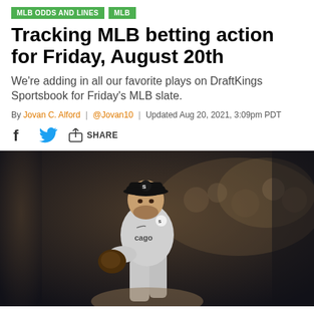MLB ODDS AND LINES  MLB
Tracking MLB betting action for Friday, August 20th
We're adding in all our favorite plays on DraftKings Sportsbook for Friday's MLB slate.
By Jovan C. Alford | @Jovan10 | Updated Aug 20, 2021, 3:09pm PDT
[Figure (other): Social share icons: Facebook, Twitter, and a share/upload icon with the label SHARE]
[Figure (photo): A Chicago White Sox pitcher in a grey away uniform winding up on the mound at night, crowd blurred in background]